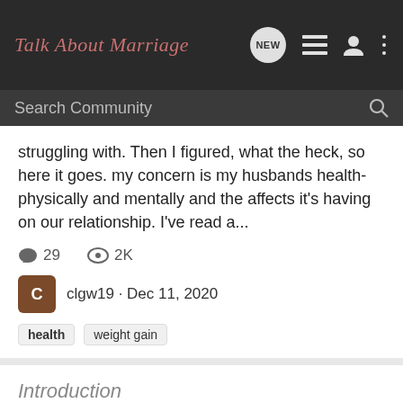Talk About Marriage
struggling with. Then I figured, what the heck, so here it goes. my concern is my husbands health- physically and mentally and the affects it's having on our relationship. I've read a...
29  2K
clgw19 · Dec 11, 2020
health  weight gain
Introduction
New Member Forum - Introduce Yourself!
Hi all This is Vimi, a blogger running a blog . Pinkdomblog is a place with interesting and informative content about different aspects of life.. I write about everything. Be it